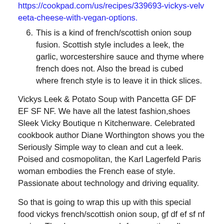https://cookpad.com/us/recipes/339693-vickys-velveeta-cheese-with-vegan-options.
6. This is a kind of french/scottish onion soup fusion. Scottish style includes a leek, the garlic, worcestershire sauce and thyme where french does not. Also the bread is cubed where french style is to leave it in thick slices.
Vickys Leek & Potato Soup with Pancetta GF DF EF SF NF. We have all the latest fashion,shoes Sleek Vicky Boutique n Kitchenware. Celebrated cookbook author Diane Worthington shows you the Seriously Simple way to clean and cut a leek. Poised and cosmopolitan, the Karl Lagerfeld Paris woman embodies the French ease of style. Passionate about technology and driving equality.
So that is going to wrap this up with this special food vickys french/scottish onion soup, gf df ef sf nf recipe. Thank you very much for your time. I'm confident that you can make this at home. There's gonna be interesting food in home recipes